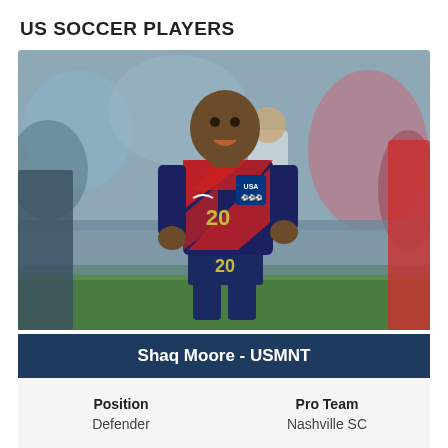US SOCCER PLAYERS
[Figure (photo): Soccer player Shaq Moore wearing USMNT red and blue jersey #20, running on the field with a crowd in the background]
Shaq Moore - USMNT
| Position | Pro Team |
| --- | --- |
| Defender | Nashville SC |